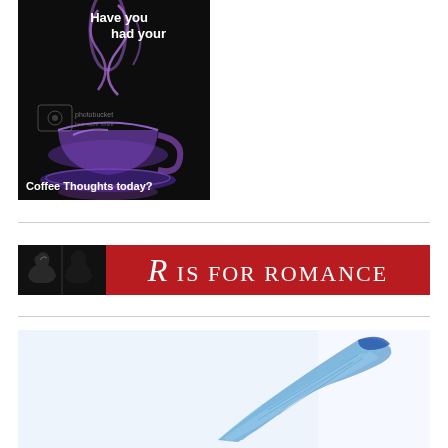[Figure (illustration): Dark background image of a glowing purple/blue coffee cup with steam rising, text overlay reading 'Have you had your Coffee Thoughts today?' with a Photobucket watermark]
[Figure (illustration): Banner image with dark left panel showing silhouette of couple, and red right panel with text 'R IS FOR ROMANCE' in white serif font]
[Figure (illustration): Partial image showing a blue feather or wing against a light background]